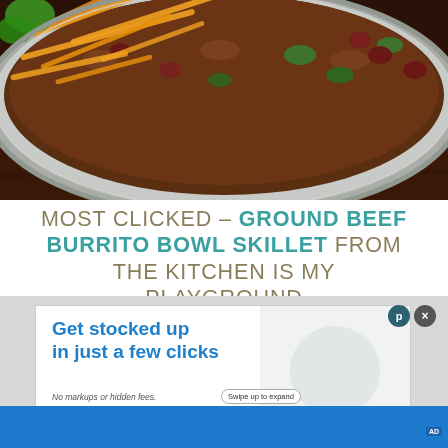[Figure (photo): Close-up photo of a ground beef burrito bowl skillet in a round gray pan, with shredded orange cheddar cheese, dark kidney beans, green peppers, and seasoned ground beef visible, on a dark wood surface.]
MOST CLICKED – GROUND BEEF BURRITO BOWL SKILLET FROM THE KITCHEN IS MY PLAYGROUND
[Figure (screenshot): Advertisement banner reading 'Get stocked up in just a few clicks' with subtitle 'No markups or hidden fees.' and a 'Swipe up to expand' button. Has a blue bottom bar, close button, and ad badge.]